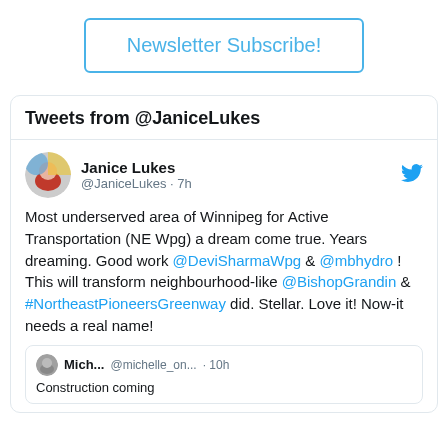Newsletter Subscribe!
Tweets from @JaniceLukes
Janice Lukes @JaniceLukes · 7h
Most underserved area of Winnipeg for Active Transportation (NE Wpg) a dream come true. Years dreaming. Good work @DeviSharmaWpg & @mbhydro ! This will transform neighbourhood-like @BishopGrandin & #NortheastPioneersGreenway did. Stellar. Love it! Now-it needs a real name!
Mich... @michelle_on... · 10h Construction coming